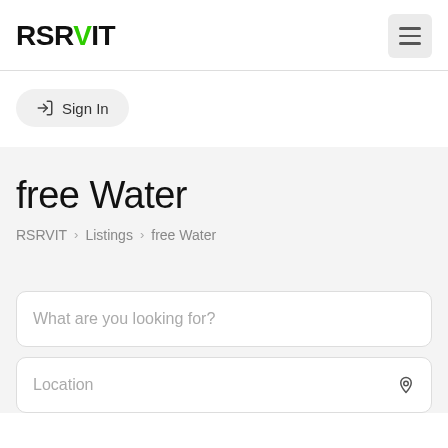RSRvIT [logo with green V]
Sign In
free Water
RSRVIT > Listings > free Water
What are you looking for?
Location